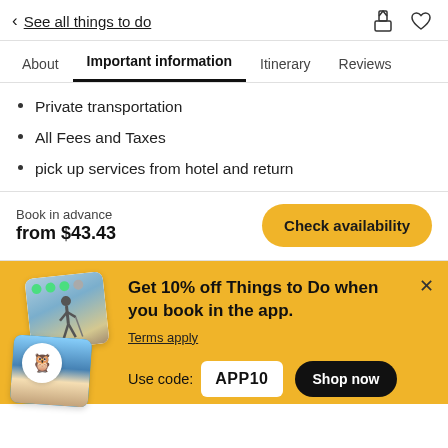< See all things to do
About | Important information | Itinerary | Reviews
Private transportation
All Fees and Taxes
pick up services from hotel and return
Book in advance
from $43.43
[Figure (screenshot): Yellow 'Check availability' button]
[Figure (infographic): Promotional banner: Get 10% off Things to Do when you book in the app. Terms apply. Use code: APP10. Shop now button.]